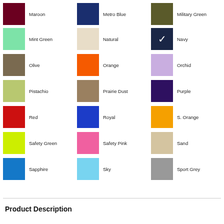[Figure (infographic): Color swatch grid showing product color options: Maroon, Metro Blue, Military Green, Mint Green, Natural, Navy (selected with checkmark), Olive, Orange, Orchid, Pistachio, Prairie Dust, Purple, Red, Royal, S. Orange, Safety Green, Safety Pink, Sand, Sapphire, Sky, Sport Grey, Stone Blue, Tan, Tangerine, Texas Orange, Vegas Gold, White]
Product Description